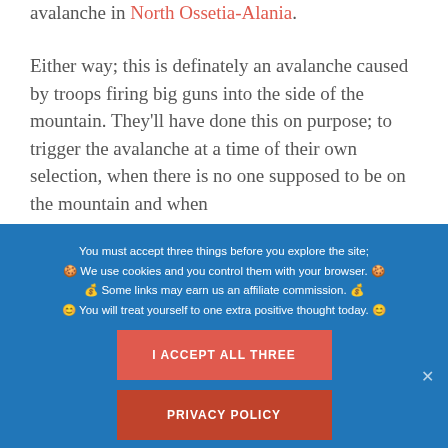avalanche in North Ossetia-Alania.
Either way; this is definately an avalanche caused by troops firing big guns into the side of the mountain. They'll have done this on purpose; to trigger the avalanche at a time of their own selection, when there is no one supposed to be on the mountain and when
You must accept three things before you explore the site;
🍪 We use cookies and you control them with your browser. 🍪
💰 Some links may earn us an affiliate commission. 💰
😊 You will treat yourself to one extra positive thought today. 😊
I ACCEPT ALL THREE
PRIVACY POLICY